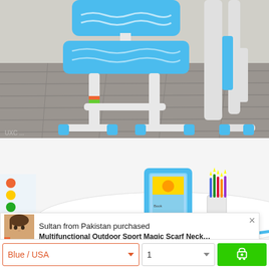[Figure (photo): Blue and white children's adjustable chair on a wood-pattern floor, viewed from the side-front angle. The chair has blue plastic seat and back with wave patterns, white metal frame legs with colorful sticker accents, and blue plastic foot caps.]
[Figure (photo): Blue and white children's desk/study table set with a book stand displaying a colorful book, a pencil cup with colored pencils, and a marker on the desk surface. The desk is white with blue accents.]
Sultan from Pakistan purchased
Multifunctional Outdoor Sport Magic Scarf Neck…
Blue / USA
1